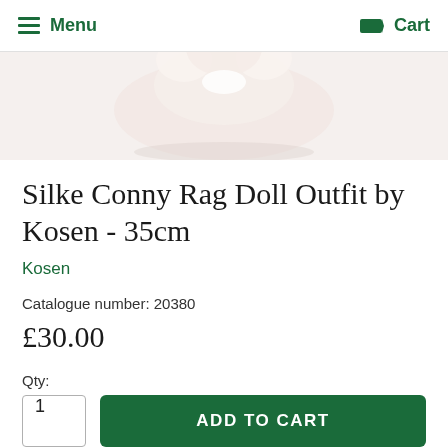Menu  Cart
[Figure (photo): Partial view of a Silke Conny Rag Doll clothing/outfit product image on a light beige background]
Silke Conny Rag Doll Outfit by Kosen - 35cm
Kosen
Catalogue number: 20380
£30.00
Qty:
ADD TO CART
Please note that this outfit will be dispatched in approximately 10-14 days